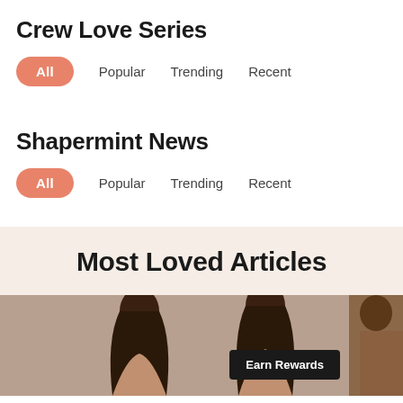Crew Love Series
All
Popular
Trending
Recent
Shapermint News
All
Popular
Trending
Recent
Most Loved Articles
[Figure (photo): Two women with curly hair posing, partial view, with Earn Rewards badge overlay]